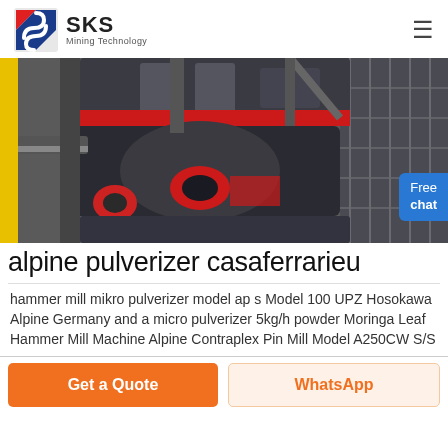SKS Mining Technology
[Figure (photo): Industrial mining pulverizer machine photographed from above in a factory/warehouse setting. Heavy grey machinery with red accents, conveyor components, and structural steel framework visible. A customer service representative thumbnail and 'Free chat' button overlay on the right side.]
alpine pulverizer casaferrarieu
hammer mill mikro pulverizer model ap s Model 100 UPZ Hosokawa Alpine Germany and a micro pulverizer 5kg/h powder Moringa Leaf Hammer Mill Machine Alpine Contraplex Pin Mill Model A250CW S/S
Get a Quote
WhatsApp